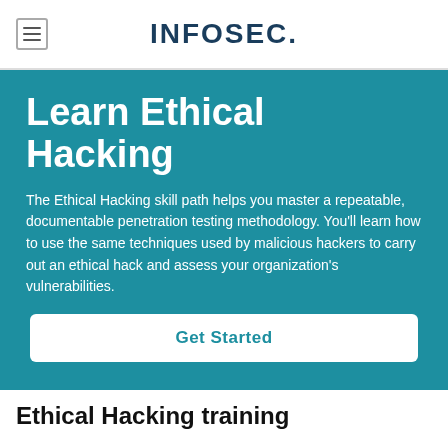INFOSEC
Learn Ethical Hacking
The Ethical Hacking skill path helps you master a repeatable, documentable penetration testing methodology. You'll learn how to use the same techniques used by malicious hackers to carry out an ethical hack and assess your organization's vulnerabilities.
Get Started
Ethical Hacking training